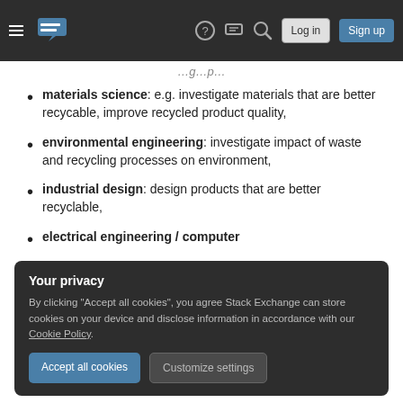Stack Exchange navigation bar with hamburger menu, logo, help, chat, search icons, Log in and Sign up buttons
materials science: e.g. investigate materials that are better recycable, improve recycled product quality,
environmental engineering: investigate impact of waste and recycling processes on environment,
industrial design: design products that are better recyclable,
electrical engineering / computer
Your privacy
By clicking "Accept all cookies", you agree Stack Exchange can store cookies on your device and disclose information in accordance with our Cookie Policy.
Accept all cookies   Customize settings